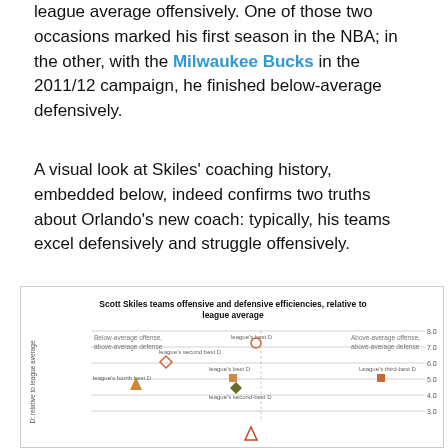league average offensively. One of those two occasions marked his first season in the NBA; in the other, with the Milwaukee Bucks in the 2011/12 campaign, he finished below-average defensively.
A visual look at Skiles' coaching history, embedded below, indeed confirms two truths about Orlando's new coach: typically, his teams excel defensively and struggle offensively.
[Figure (scatter-plot): Scatter plot showing Scott Skiles coached teams plotted by offensive and defensive efficiency relative to league average. Quadrants labeled: Below-average offense / above-average defense (top-left), Above-average offense / above-average defense (top-right). Data points include annotations: League's best D, League's second-best D, League's third-best D, League's fourth best D. Y-axis: defensive efficiency relative to league average (range ~3.0 to 8.0). Multiple team markers (open circle, open diamond, filled square, filled diamond, filled triangle, open triangle) are plotted.]